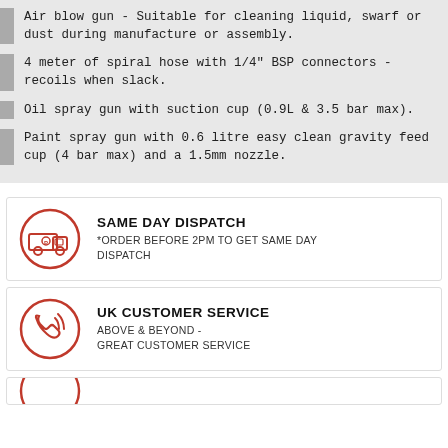Air blow gun - Suitable for cleaning liquid, swarf or dust during manufacture or assembly.
4 meter of spiral hose with 1/4" BSP connectors - recoils when slack.
Oil spray gun with suction cup (0.9L & 3.5 bar max).
Paint spray gun with 0.6 litre easy clean gravity feed cup (4 bar max) and a 1.5mm nozzle.
[Figure (infographic): Same Day Dispatch badge: circular red icon with delivery van, bold text 'SAME DAY DISPATCH', subtext '*ORDER BEFORE 2PM TO GET SAME DAY DISPATCH']
[Figure (infographic): UK Customer Service badge: circular red icon with phone/handset, bold text 'UK CUSTOMER SERVICE', subtext 'ABOVE & BEYOND - GREAT CUSTOMER SERVICE']